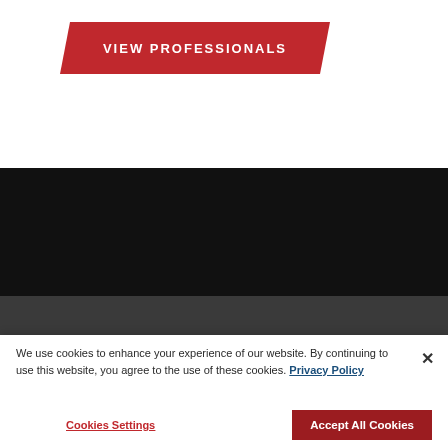[Figure (other): Red parallelogram button with white text reading VIEW PROFESSIONALS]
[Figure (other): Black background section (image/video area)]
PUBLICATIONS
We use cookies to enhance your experience of our website. By continuing to use this website, you agree to the use of these cookies. Privacy Policy
Cookies Settings
Accept All Cookies